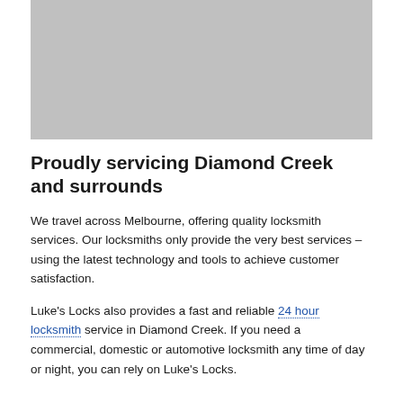[Figure (photo): Gray placeholder image at top of page]
Proudly servicing Diamond Creek and surrounds
We travel across Melbourne, offering quality locksmith services. Our locksmiths only provide the very best services – using the latest technology and tools to achieve customer satisfaction.
Luke's Locks also provides a fast and reliable 24 hour locksmith service in Diamond Creek. If you need a commercial, domestic or automotive locksmith any time of day or night, you can rely on Luke's Locks.